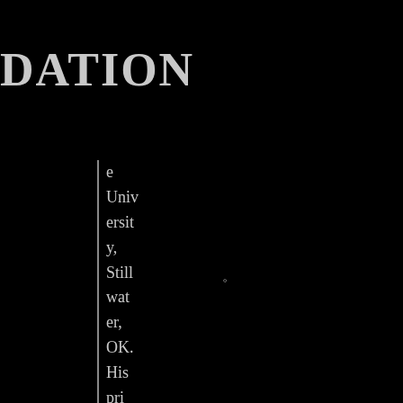DATION
e University, Stillwater, OK. His primary rese
Heterogeneous and Consciousness Psychology and Psychotherapy
Parapsychology and Psychical Research